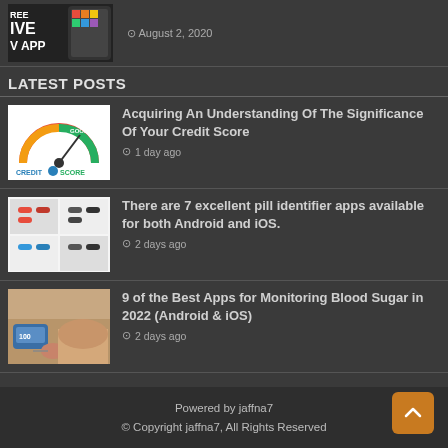[Figure (screenshot): Partial image of a phone/app with text REE IVE V APP visible]
August 2, 2020
LATEST POSTS
[Figure (illustration): Credit score gauge illustration with a figure pushing arrow to GOOD/EXCELLENT zone, labeled CREDIT SCORE]
Acquiring An Understanding Of The Significance Of Your Credit Score
1 day ago
[Figure (screenshot): Screenshot of pill identifier app with colorful pill images]
There are 7 excellent pill identifier apps available for both Android and iOS.
2 days ago
[Figure (photo): Hands using a blood sugar monitoring device]
9 of the Best Apps for Monitoring Blood Sugar in 2022 (Android & iOS)
2 days ago
Powered by jaffna7
© Copyright jaffna7, All Rights Reserved